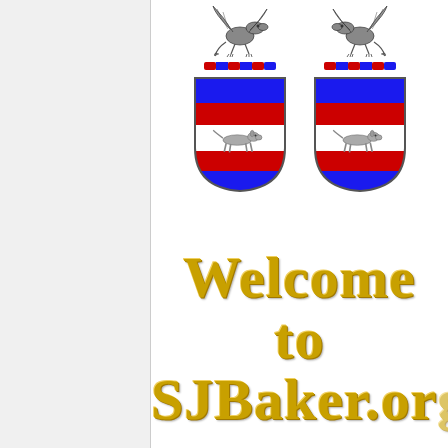[Figure (illustration): Two heraldic coat of arms shields side by side, each with a dragon crest on top, horizontal stripes of blue, red, white (with a greyhound passant), red, and blue. A twisted rope or wreath separates the crest from the shield.]
Welcome to SJBaker.org